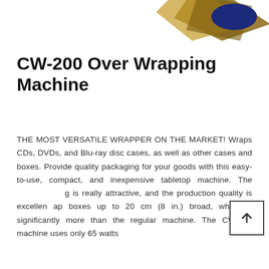[Figure (illustration): Partial view of geometric/abstract illustration with tan/brown angular diamond shape and dark navy blue oval/ellipse shape on white background, cropped at top of page.]
CW-200 Over Wrapping Machine
THE MOST VERSATILE WRAPPER ON THE MARKET! Wraps CDs, DVDs, and Blu-ray disc cases, as well as other cases and boxes. Provide quality packaging for your goods with this easy-to-use, compact, and inexpensive tabletop machine. The packaging is really attractive, and the production quality is excellent. It wraps boxes up to 20 cm (8 in.) broad, which is significantly more than the regular machine. The CW-350 machine uses only 65 watts